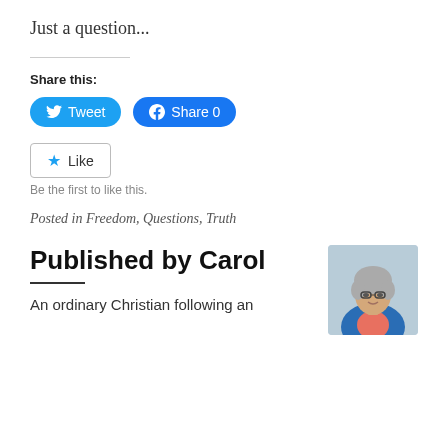Just a question...
Share this:
[Figure (screenshot): Tweet and Facebook Share buttons]
[Figure (screenshot): Like button with star icon]
Be the first to like this.
Posted in Freedom, Questions, Truth
Published by Carol
An ordinary Christian following an extraordinary God. Kira lltrate h Carol